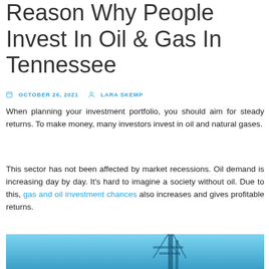Reason Why People Invest In Oil & Gas In Tennessee
OCTOBER 26, 2021   LARA SKEMP
When planning your investment portfolio, you should aim for steady returns. To make money, many investors invest in oil and natural gases.
This sector has not been affected by market recessions. Oil demand is increasing day by day. It's hard to imagine a society without oil. Due to this, gas and oil investment chances also increases and gives profitable returns.
[Figure (photo): Partial photograph of an oil or gas industrial structure (likely a drilling rig or tower) against a blue sky background]